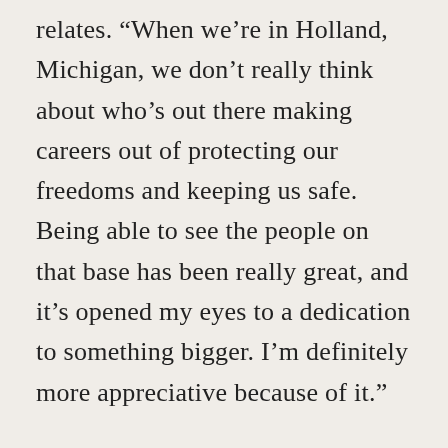relates. “When we’re in Holland, Michigan, we don’t really think about who’s out there making careers out of protecting our freedoms and keeping us safe. Being able to see the people on that base has been really great, and it’s opened my eyes to a dedication to something bigger. I’m definitely more appreciative because of it.”